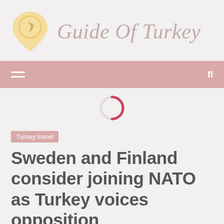Guide Of Turkey
[Figure (logo): Guide Of Turkey website logo with map pin icon containing a crescent and star symbol in gold/cream colors, and cursive text 'Guide Of Turkey' in muted pink/rose color]
[Figure (infographic): Navigation bar with hamburger menu icon on the left and 'fl' text on the right, pink/mauve background]
[Figure (infographic): Loading spinner icon - circular with pink and light gray portions]
Turkey travel
Sweden and Finland consider joining NATO as Turkey voices opposition
3 months ago  Gregory V. Jones